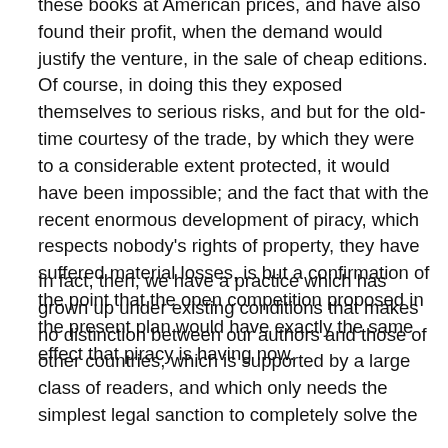these books at American prices, and have also found their profit, when the demand would justify the venture, in the sale of cheap editions. Of course, in doing this they exposed themselves to serious risks, and but for the old-time courtesy of the trade, by which they were to a considerable extent protected, it would have been impossible; and the fact that with the recent enormous development of piracy, which respects nobody's rights of property, they have suffered material losses, is but a confirmation of the point that the open competition proposed in the present plan would have exactly the same effect that piracy is having now.
In fact, then, we have a practice which has grown up under existing conditions that makes no distinction between our authors and those of other countries, which is supported by a large class of readers, and which only needs the simplest legal sanction to completely solve the